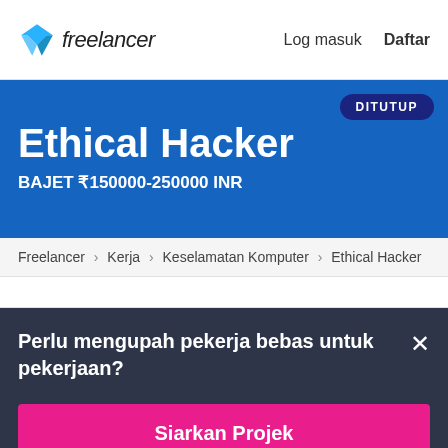freelancer  Log masuk  Daftar
Ethical Hacker
BAJET ₹150000-250000 INR
DITUTUP
Freelancer › Kerja › Keselamatan Komputer › Ethical Hacker
Perlu mengupah pekerja bebas untuk pekerjaan?
Siarkan Projek